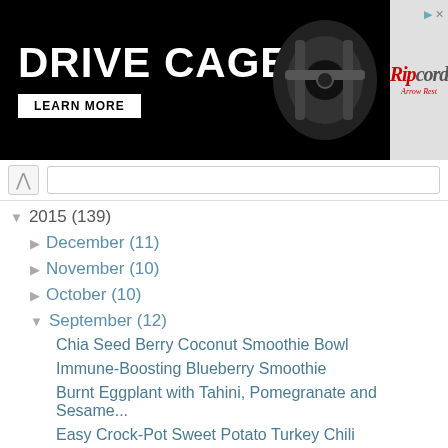[Figure (other): Advertisement banner for Ripcord Arrow Rest 'Drive Cage' product with 'Learn More' button on black background with red/gray branding]
2015 (139)
December (11)
November (10)
October (10)
September (12)
Chia Seed Berry Coconut Smoothie Bowl
Immune-Boosting Blueberry Smoothie
Burnt Eggplant with Tahini, Pomegranate and Sesame...
Easy Crock-Pot Sweet Potato Turkey Chili
(Paleo) Coconut Lemon Chia Seed Muffins
Eggplant Pizzas
(Paleo) Cinnamon Roll In A Mug